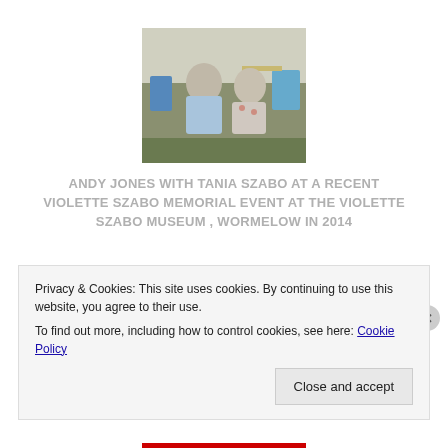[Figure (photo): Two people (a man and a woman) seated outdoors at an event, with blue chairs visible in the background.]
ANDY JONES WITH TANIA SZABO AT A RECENT VIOLETTE SZABO MEMORIAL EVENT AT THE VIOLETTE SZABO MUSEUM , WORMELOW IN 2014
[Figure (photo): Outdoor event scene showing people and bunting decorations near a building.]
Privacy & Cookies: This site uses cookies. By continuing to use this website, you agree to their use.
To find out more, including how to control cookies, see here: Cookie Policy
Close and accept